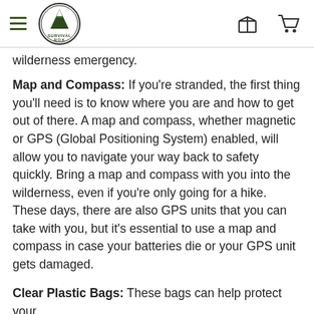SURVIVAL BOX
wilderness emergency.
Map and Compass: If you're stranded, the first thing you'll need is to know where you are and how to get out of there. A map and compass, whether magnetic or GPS (Global Positioning System) enabled, will allow you to navigate your way back to safety quickly. Bring a map and compass with you into the wilderness, even if you're only going for a hike. These days, there are also GPS units that you can take with you, but it's essential to use a map and compass in case your batteries die or your GPS unit gets damaged.
Clear Plastic Bags: These bags can help protect your